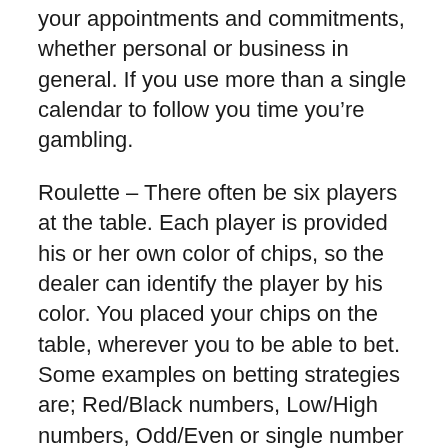your appointments and commitments, whether personal or business in general. If you use more than a single calendar to follow you time you're gambling.
Roulette – There often be six players at the table. Each player is provided his or her own color of chips, so the dealer can identify the player by his color. You placed your chips on the table, wherever you to be able to bet. Some examples on betting strategies are; Red/Black numbers, Low/High numbers, Odd/Even or single number selections.
There is need for top speed users to be protected. A speed access can set off vulnerability to hacking. So, as a farmer in the rules stated online casinos, you should